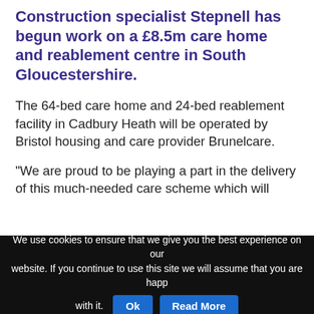Construction specialist Stepnell has begun work on a £8.5m care home and reablement centre in South Gloucestershire.
The 64-bed care home and 24-bed reablement facility in Cadbury Heath will be operated by Bristol housing and care provider Brunelcare.
“We are proud to be playing a part in the delivery of this much-needed care scheme which will
We use cookies to ensure that we give you the best experience on our website. If you continue to use this site we will assume that you are happy with it. Ok Read More